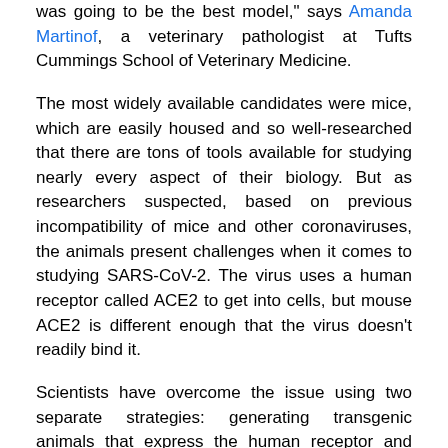was going to be the best model," says Amanda Martinof, a veterinary pathologist at Tufts Cummings School of Veterinary Medicine.
The most widely available candidates were mice, which are easily housed and so well-researched that there are tons of tools available for studying nearly every aspect of their biology. But as researchers suspected, based on previous incompatibility of mice and other coronaviruses, the animals present challenges when it comes to studying SARS-CoV-2. The virus uses a human receptor called ACE2 to get into cells, but mouse ACE2 is different enough that the virus doesn't readily bind it.
Scientists have overcome the issue using two separate strategies: generating transgenic animals that express the human receptor and modifying the SARS-CoV-2 virus to make it better able to bind mouse ACE2.
Even with the success of those approaches, investigators